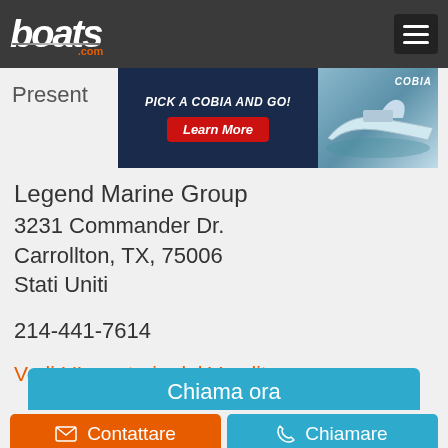boats.com
Present
[Figure (illustration): Advertisement banner: PICK A COBIA AND GO! with Learn More button and a boat image on the right with COBIA branding]
Legend Marine Group
3231 Commander Dr.
Carrollton, TX, 75006
Stati Uniti
214-441-7614
Vedi L'Inventario del Venditore
Chiama ora
Contattare
Chiamare